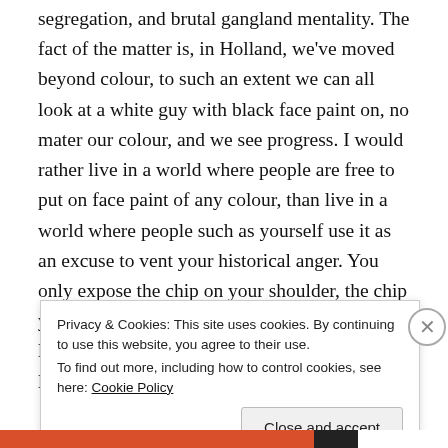segregation, and brutal gangland mentality. The fact of the matter is, in Holland, we've moved beyond colour, to such an extent we can all look at a white guy with black face paint on, no mater our colour, and we see progress. I would rather live in a world where people are free to put on face paint of any colour, than live in a world where people such as yourself use it as an excuse to vent your historical anger. You only expose the chip on your shoulder, the chip you won't let go. Ask yourself why you won't let it go, and you'll meet a terrible truth... you let your
Privacy & Cookies: This site uses cookies. By continuing to use this website, you agree to their use.
To find out more, including how to control cookies, see here: Cookie Policy
Close and accept